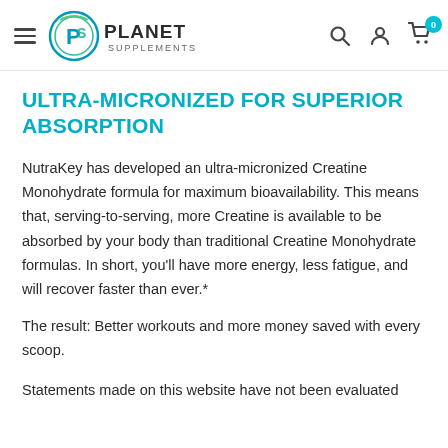Planet Supplements — navigation header with hamburger menu, logo, search, account, and cart icons
ULTRA-MICRONIZED FOR SUPERIOR ABSORPTION
NutraKey has developed an ultra-micronized Creatine Monohydrate formula for maximum bioavailability. This means that, serving-to-serving, more Creatine is available to be absorbed by your body than traditional Creatine Monohydrate formulas. In short, you'll have more energy, less fatigue, and will recover faster than ever.*
The result: Better workouts and more money saved with every scoop.
Statements made on this website have not been evaluated